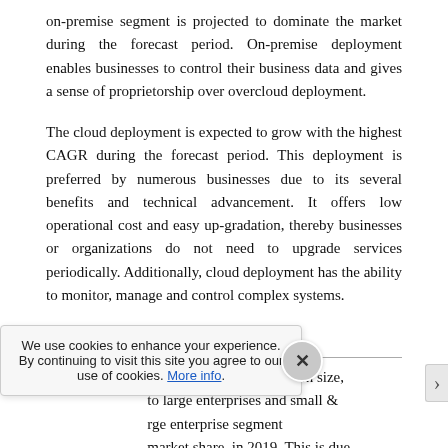on-premise segment is projected to dominate the market during the forecast period. On-premise deployment enables businesses to control their business data and gives a sense of proprietorship over overcloud deployment.
The cloud deployment is expected to grow with the highest CAGR during the forecast period. This deployment is preferred by numerous businesses due to its several benefits and technical advancement. It offers low operational cost and easy up-gradation, thereby businesses or organizations do not need to upgrade services periodically. Additionally, cloud deployment has the ability to monitor, manage and control complex systems.
Enterprise Size Insights
…vices based on organization size, …to large enterprises and small & …rge enterprise segment …market share, in 2019. This is due …cash management systems
We use cookies to enhance your experience. By continuing to visit this site you agree to our use of cookies. More info.